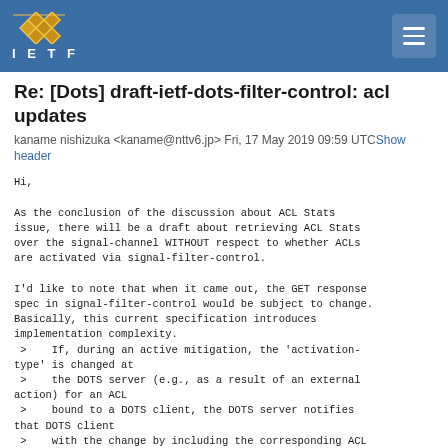IETF
Re: [Dots] draft-ietf-dots-filter-control: acl updates
kaname nishizuka <kaname@nttv6.jp> Fri, 17 May 2019 09:59 UTC Show header
Hi,

As the conclusion of the discussion about ACL Stats issue, there will be a draft about retrieving ACL Stats over the signal-channel WITHOUT respect to whether ACLs are activated via signal-filter-control.

I'd like to note that when it came out, the GET response spec in signal-filter-control would be subject to change. Basically, this current specification introduces implementation complexity.
 >    If, during an active mitigation, the 'activation-type' is changed at
 >    the DOTS server (e.g., as a result of an external action) for an ACL
 >    bound to a DOTS client, the DOTS server notifies that DOTS client
 >    with the change by including the corresponding ACL